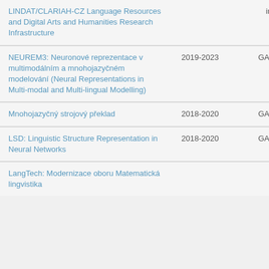| Project | Years | Funder |
| --- | --- | --- |
| LINDAT/CLARIAH-CZ Language Resources and Digital Arts and Humanities Research Infrastructure |  | infrastruktury |
| NEUREM3: Neuronové reprezentace v multimodálním a mnohojazyčném modelování (Neural Representations in Multi-modal and Multi-lingual Modelling) | 2019-2023 | GAČR |
| Mnohojazyčný strojový překlad | 2018-2020 | GAČR |
| LSD: Linguistic Structure Representation in Neural Networks | 2018-2020 | GAČR |
| LangTech: Modernizace oboru Matematická lingvistika |  | MŠMT - OP VVV |